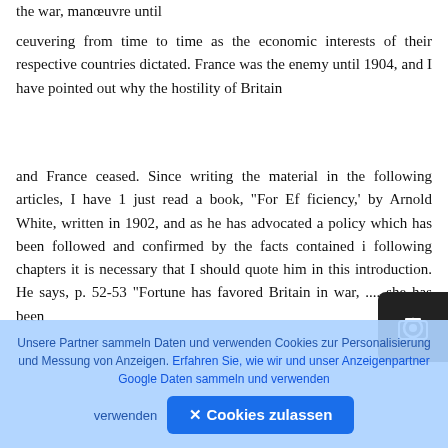the war, manœuvre until
ceuvering from time to time as the economic interests of their respective countries dictated. France was the enemy until 1904, and I have pointed out why the hostility of Britain
and France ceased. Since writing the material in the following articles, I have 1 just read a book, "For Ef ficiency,' by Arnold White, written in 1902, and as he has advocated a policy which has been followed and confirmed by the facts contained in the following chapters it is necessary that I should quote him in this introduction. He says, p. 52-53 "Fortune has favored Britain in war, .... she has been
Unsere Partner sammeln Daten und verwenden Cookies zur Personalisierung und Messung von Anzeigen. Erfahren Sie, wie wir und unser Anzeigenpartner Google Daten sammeln und verwenden
✕ Cookies zulassen